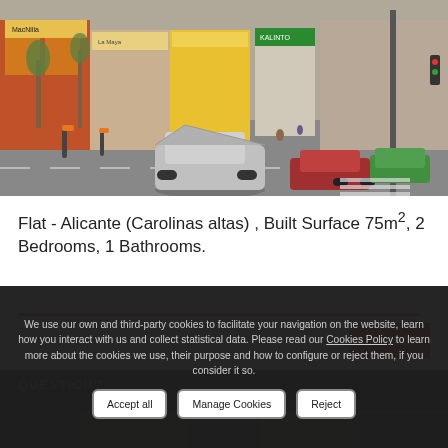[Figure (photo): Street photo showing urban road in Alicante with cars including a silver SUV, storefronts with signs, and a street corner]
Flat - Alicante (Carolinas altas) , Built Surface 75m², 2 Bedrooms, 1 Bathrooms.
We use our own and third-party cookies to facilitate your navigation on the website, learn how you interact with us and collect statistical data. Please read our Cookies Policy to learn more about the cookies we use, their purpose and how to configure or reject them, if you consider it so.
Accept all | Manage Cookies | Reject
QUESTION?